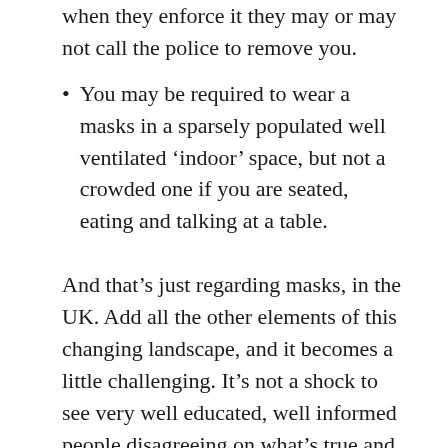when they enforce it they may or may not call the police to remove you.
You may be required to wear a masks in a sparsely populated well ventilated ‘indoor’ space, but not a crowded one if you are seated, eating and talking at a table.
And that’s just regarding masks, in the UK. Add all the other elements of this changing landscape, and it becomes a little challenging. It’s not a shock to see very well educated, well informed people disagreeing on what’s true and what’s not …
In the UK we have the UK government’s